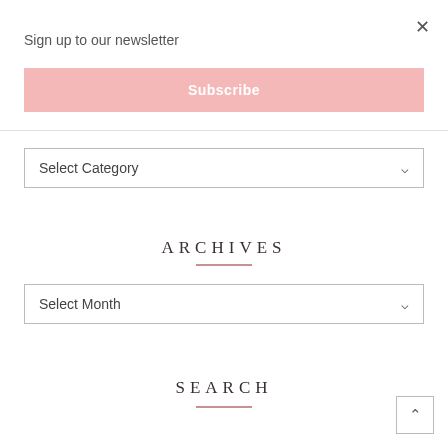×
Sign up to our newsletter
Subscribe
Select Category
ARCHIVES
Select Month
SEARCH